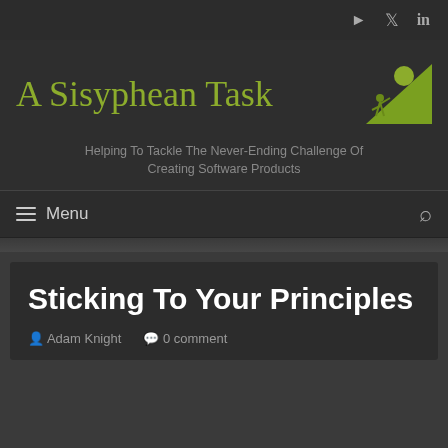Social icons: RSS, Twitter, LinkedIn
A Sisyphean Task
Helping To Tackle The Never-Ending Challenge Of Creating Software Products
Menu
Sticking To Your Principles
Adam Knight  0 comment